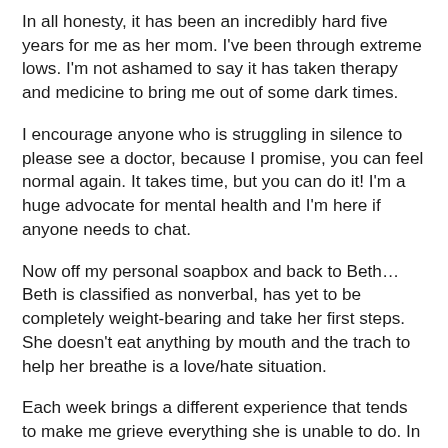In all honesty, it has been an incredibly hard five years for me as her mom. I've been through extreme lows. I'm not ashamed to say it has taken therapy and medicine to bring me out of some dark times.
I encourage anyone who is struggling in silence to please see a doctor, because I promise, you can feel normal again. It takes time, but you can do it! I'm a huge advocate for mental health and I'm here if anyone needs to chat.
Now off my personal soapbox and back to Beth… Beth is classified as nonverbal, has yet to be completely weight-bearing and take her first steps. She doesn't eat anything by mouth and the trach to help her breathe is a love/hate situation.
Each week brings a different experience that tends to make me grieve everything she is unable to do. In these moments I take the time to be sad, sometimes